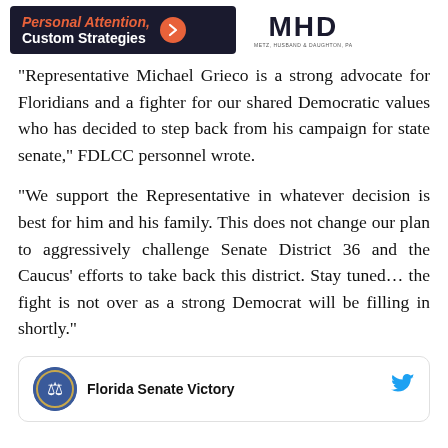[Figure (other): Advertisement banner: dark background with orange italic 'Personal Attention,' and white bold 'Custom Strategies' text, orange arrow button, and MHD logo (Metz, Husband & Daughton, PA) on right]
“Representative Michael Grieco is a strong advocate for Floridians and a fighter for our shared Democratic values who has decided to step back from his campaign for state senate,” FDLCC personnel wrote.
“We support the Representative in whatever decision is best for him and his family. This does not change our plan to aggressively challenge Senate District 36 and the Caucus’ efforts to take back this district. Stay tuned… the fight is not over as a strong Democrat will be filling in shortly.”
[Figure (other): Tweet card showing Florida Senate Victory account with circular seal avatar and Twitter bird icon]